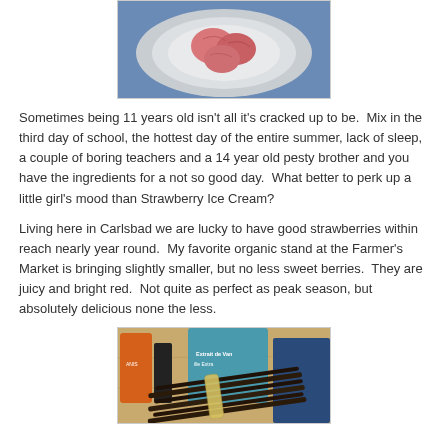[Figure (photo): Overhead view of pink/red strawberry ice cream scoops in a white bowl on a plate, with a blue patterned background]
Sometimes being 11 years old isn't all it's cracked up to be. Mix in the third day of school, the hottest day of the entire summer, lack of sleep, a couple of boring teachers and a 14 year old pesty brother and you have the ingredients for a not so good day. What better to perk up a little girl's mood than Strawberry Ice Cream?
Living here in Carlsbad we are lucky to have good strawberries within reach nearly year round. My favorite organic stand at the Farmer's Market is bringing slightly smaller, but no less sweet berries. They are juicy and bright red. Not quite as perfect as peak season, but absolutely delicious none the less.
[Figure (photo): Vanilla beans bundled with a rubber band on a wooden surface, with cans/jars in the background including one labeled 'Extrait de Vanille']